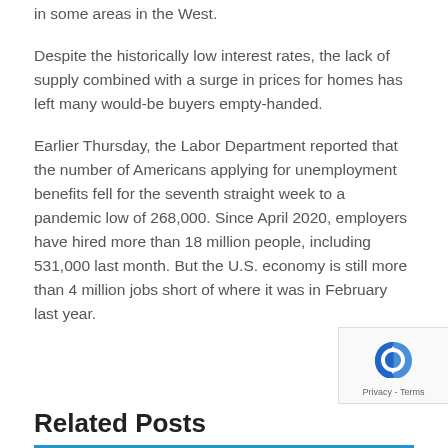in some areas in the West.
Despite the historically low interest rates, the lack of supply combined with a surge in prices for homes has left many would-be buyers empty-handed.
Earlier Thursday, the Labor Department reported that the number of Americans applying for unemployment benefits fell for the seventh straight week to a pandemic low of 268,000. Since April 2020, employers have hired more than 18 million people, including 531,000 last month. But the U.S. economy is still more than 4 million jobs short of where it was in February last year.
Related Posts